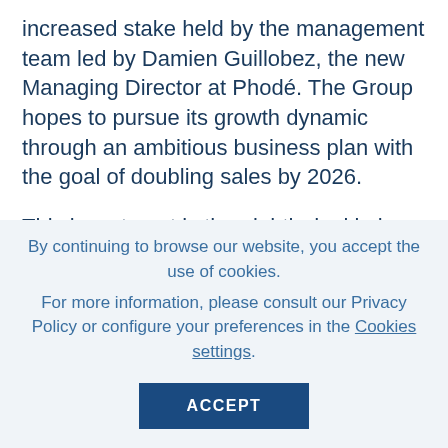increased stake held by the management team led by Damien Guillobez, the new Managing Director at Phodé. The Group hopes to pursue its growth dynamic through an ambitious business plan with the goal of doubling sales by 2026.
This investment is the eighth deal in less than three years for the FPCI Capital Santé 2, which has €185 million under management. As a
By continuing to browse our website, you accept the use of cookies.
For more information, please consult our Privacy Policy or configure your preferences in the Cookies settings.
ACCEPT